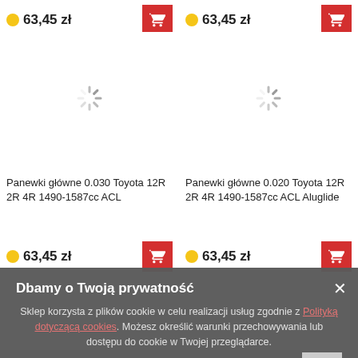[Figure (screenshot): Product listing page showing two columns of auto parts (bearing shells/panewki glowne) with price 63,45 zł and add-to-cart buttons, loading spinner icons in product image areas]
63,45 zł
63,45 zł
Panewki główne 0.030 Toyota 12R 2R 4R 1490-1587cc ACL
Panewki główne 0.020 Toyota 12R 2R 4R 1490-1587cc ACL Aluglide
63,45 zł
63,45 zł
Dbamy o Twoją prywatność
Sklep korzysta z plików cookie w celu realizacji usług zgodnie z Polityką dotyczącą cookies. Możesz określić warunki przechowywania lub dostępu do cookie w Twojej przeglądarce.
Zamknij